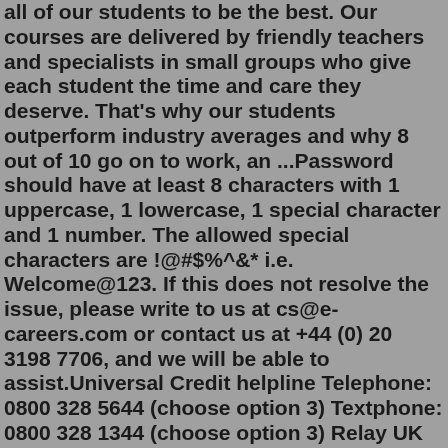all of our students to be the best. Our courses are delivered by friendly teachers and specialists in small groups who give each student the time and care they deserve. That's why our students outperform industry averages and why 8 out of 10 go on to work, an ...Password should have at least 8 characters with 1 uppercase, 1 lowercase, 1 special character and 1 number. The allowed special characters are !@#$%^&* i.e. Welcome@123. If this does not resolve the issue, please write to us at cs@e-careers.com or contact us at +44 (0) 20 3198 7706, and we will be able to assist.Universal Credit helpline Telephone: 0800 328 5644 (choose option 3) Textphone: 0800 328 1344 (choose option 3) Relay UK (if you cannot hear or speak on the phone): 18001 then 0800 328 5644 ...Top customer service. Compare The Man And Van. Shift Group Ltd. 86-90 Paul Street. London. England. EC2A 4NE. Company number 08890359. VAT number GB 285 6182 72.Do you need a local auto locksmith in Walsall? We have access to some of the best auto locksmiths in West